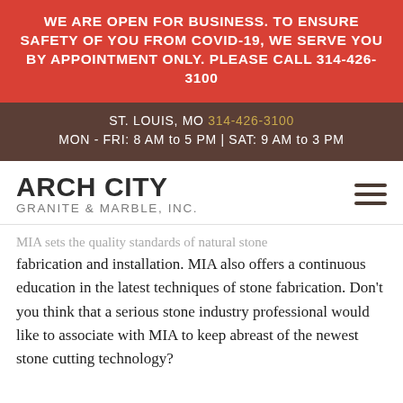WE ARE OPEN FOR BUSINESS. TO ENSURE SAFETY OF YOU FROM COVID-19, WE SERVE YOU BY APPOINTMENT ONLY. PLEASE CALL 314-426-3100
ST. LOUIS, MO 314-426-3100 | MON - FRI: 8 AM to 5 PM | SAT: 9 AM to 3 PM
ARCH CITY GRANITE & MARBLE, INC.
MIA sets the quality standards of natural stone fabrication and installation. MIA also offers a continuous education in the latest techniques of stone fabrication. Don't you think that a serious stone industry professional would like to associate with MIA to keep abreast of the newest stone cutting technology?